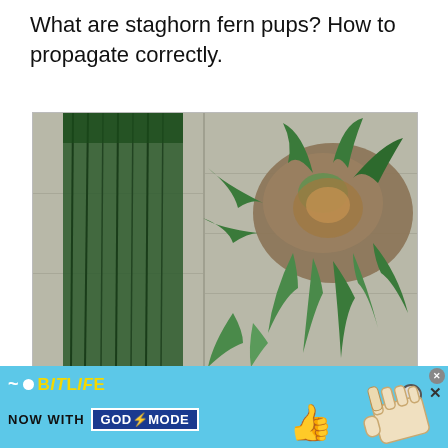What are staghorn fern pups? How to propagate correctly.
[Figure (photo): Photo of staghorn fern plants growing on a wall, showing drooping green fronds on the left side and a large lush staghorn fern cluster with antler-like fronds on the right side, mounted on a brick or concrete wall background.]
[Figure (infographic): BitLife mobile game advertisement banner with light blue background. Shows BitLife logo with wave and dot icons, yellow 'BITLIFE' text, 'NOW WITH GOD MODE' text where GOD MODE is in a dark blue button with lightning bolt. A yellow thumbs-up emoji and pointing hand illustrations are on the right. Close button (X) in top right corner with question mark and X icons.]